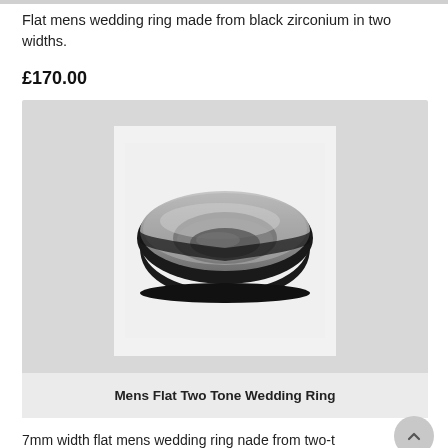Flat mens wedding ring made from black zirconium in two widths.
£170.00
[Figure (photo): A flat mens two-tone wedding ring made from black zirconium, shown from a slight angle. The outer surface is brushed silver/grey and the sides and inner band are polished black.]
Mens Flat Two Tone Wedding Ring
7mm width flat mens wedding ring nade from two-t… zirconium.
£170.00